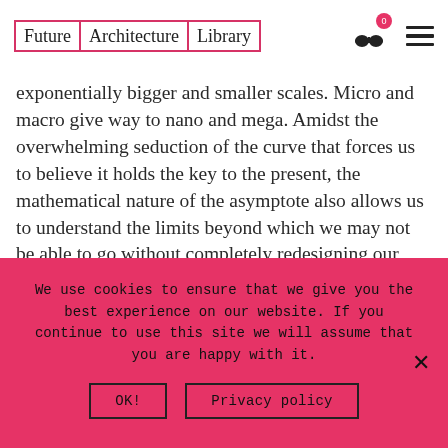Future Architecture Library
exponentially bigger and smaller scales. Micro and macro give way to nano and mega. Amidst the overwhelming seduction of the curve that forces us to believe it holds the key to the present, the mathematical nature of the asymptote also allows us to understand the limits beyond which we may not be able to go without completely redesigning our position on the planet or even ourselves as a species. The problem is not change itself, but the speed with which it now happens and the
We use cookies to ensure that we give you the best experience on our website. If you continue to use this site we will assume that you are happy with it.
OK!
Privacy policy